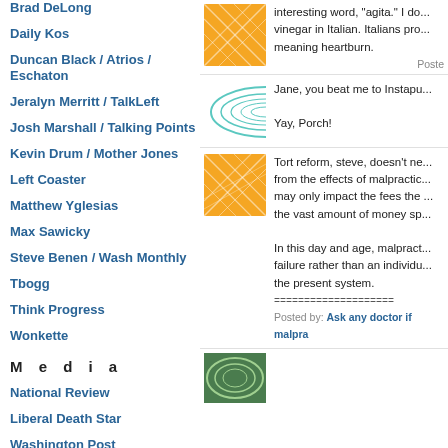Brad DeLong
Daily Kos
Duncan Black / Atrios / Eschaton
Jeralyn Merritt / TalkLeft
Josh Marshall / Talking Points
Kevin Drum / Mother Jones
Left Coaster
Matthew Yglesias
Max Sawicky
Steve Benen / Wash Monthly
Tbogg
Think Progress
Wonkette
M e d i a
National Review
Liberal Death Star
Washington Post
interesting word, "agita." I do... vinegar in Italian. Italians pro... meaning heartburn.
Jane, you beat me to Instapu...
Yay, Porch!
Tort reform, steve, doesn't ne... from the effects of malpractic... may only impact the fees the ... the vast amount of money sp...
In this day and age, malpract... failure rather than an individu... the present system.
===================
Posted by: Ask any doctor if malpra...